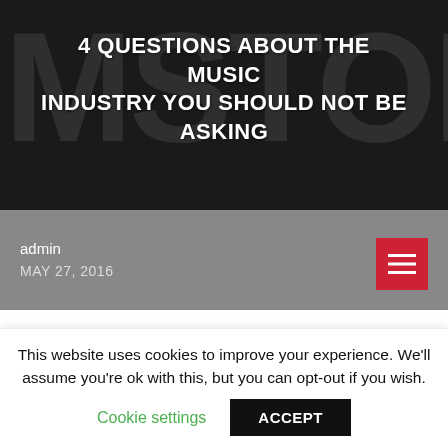[Figure (screenshot): Blog post header image with large dark background showing 'MSTOM' letters and white title text overlay, with gray bar below showing admin info and red menu button]
4 QUESTIONS ABOUT THE MUSIC INDUSTRY YOU SHOULD NOT BE ASKING
admin
MAY 27, 2016
Chances are, you are already ruining your potential to succeed in the music industry because you believe in one or more music career myths. How do I know? I am sent e-mail messages on a
This website uses cookies to improve your experience. We'll assume you're ok with this, but you can opt-out if you wish.
Cookie settings  ACCEPT